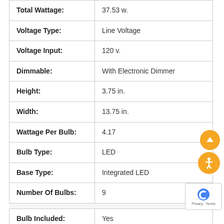| Attribute | Value |
| --- | --- |
| Total Wattage: | 37.53 w. |
| Voltage Type: | Line Voltage |
| Voltage Input: | 120 v. |
| Dimmable: | With Electronic Dimmer |
| Height: | 3.75 in. |
| Width: | 13.75 in. |
| Wattage Per Bulb: | 4.17 |
| Bulb Type: | LED |
| Base Type: | Integrated LED |
| Number Of Bulbs: | 9 |
| Bulb Included: | Yes |
| EnergyStar Compliant: | No |